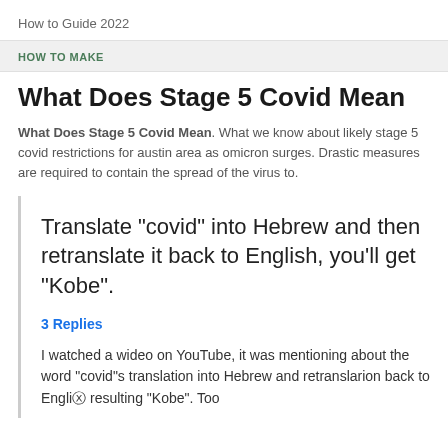How to Guide 2022
HOW TO MAKE
What Does Stage 5 Covid Mean
What Does Stage 5 Covid Mean. What we know about likely stage 5 covid restrictions for austin area as omicron surges. Drastic measures are required to contain the spread of the virus to.
Translate "covid" into Hebrew and then retranslate it back to English, you'll get "Kobe".
3 Replies
I watched a wideo on YouTube, it was mentioning about the word "covid"s translation into Hebrew and retranslarion back to Engliⓧ resulting "Kobe".  Too